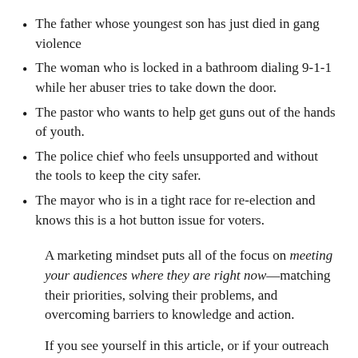The father whose youngest son has just died in gang violence
The woman who is locked in a bathroom dialing 9-1-1 while her abuser tries to take down the door.
The pastor who wants to help get guns out of the hands of youth.
The police chief who feels unsupported and without the tools to keep the city safer.
The mayor who is in a tight race for re-election and knows this is a hot button issue for voters.
A marketing mindset puts all of the focus on meeting your audiences where they are right now—matching their priorities, solving their problems, and overcoming barriers to knowledge and action.
If you see yourself in this article, or if your outreach efforts to date haven't gotten the traction you'd hoped